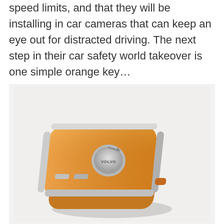speed limits, and that they will be installing in car cameras that can keep an eye out for distracted driving. The next step in their car safety world takeover is one simple orange key…
[Figure (photo): An orange Volvo car key fob with chrome/silver trim edges and the Volvo logo emblem on top, photographed on a white background with soft shadow.]